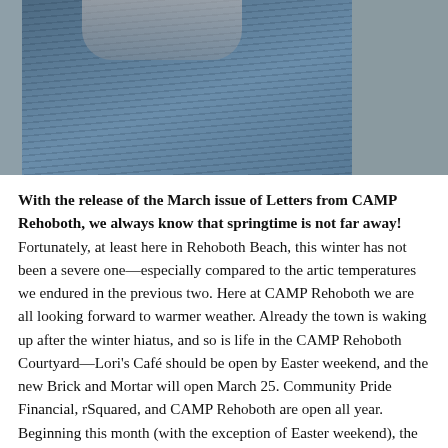[Figure (photo): Close-up photo of a person wearing a striped blue-grey button-up shirt, cropped to show torso and lower face/neck area. Background is grey.]
With the release of the March issue of Letters from CAMP Rehoboth, we always know that springtime is not far away! Fortunately, at least here in Rehoboth Beach, this winter has not been a severe one—especially compared to the artic temperatures we endured in the previous two. Here at CAMP Rehoboth we are all looking forward to warmer weather. Already the town is waking up after the winter hiatus, and so is life in the CAMP Rehoboth Courtyard—Lori's Café should be open by Easter weekend, and the new Brick and Mortar will open March 25. Community Pride Financial, rSquared, and CAMP Rehoboth are open all year. Beginning this month (with the exception of Easter weekend), the CAMP Rehoboth office will return to its regular seven day a week schedule—no longer closed on Sunday.
The approaching springtime also means that the CAMP Rehoboth Women's FEST will be here before we know it. Now celebrating its 16th year as a Rehoboth Women's event, Women's FEST is four days